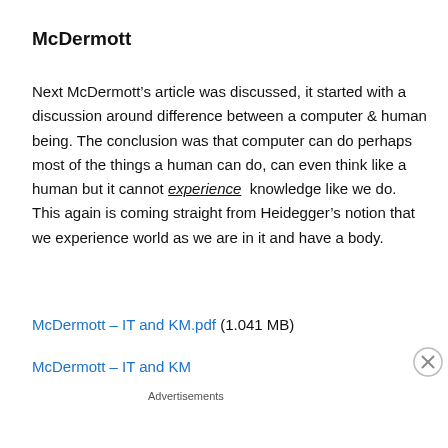McDermott
Next McDermott’s article was discussed, it started with a discussion around difference between a computer & human being. The conclusion was that computer can do perhaps most of the things a human can do, can even think like a human but it cannot experience  knowledge like we do. This again is coming straight from Heidegger’s notion that we experience world as we are in it and have a body.
McDermott – IT and KM.pdf (1.041 MB)
McDermott – IT and KM
Advertisements
[Figure (infographic): Advertisement banner: Launch your online course with WordPress. Learn More button.]